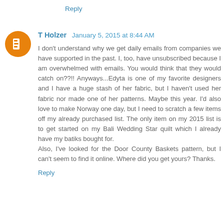Reply
T Holzer  January 5, 2015 at 8:44 AM
I don't understand why we get daily emails from companies we have supported in the past. I, too, have unsubscribed because I am overwhelmed with emails. You would think that they would catch on??!! Anyways...Edyta is one of my favorite designers and I have a huge stash of her fabric, but I haven't used her fabric nor made one of her patterns. Maybe this year. I'd also love to make Norway one day, but I need to scratch a few items off my already purchased list. The only item on my 2015 list is to get started on my Bali Wedding Star quilt which I already have my batiks bought for.
Also, I've looked for the Door County Baskets pattern, but I can't seem to find it online. Where did you get yours? Thanks.
Reply